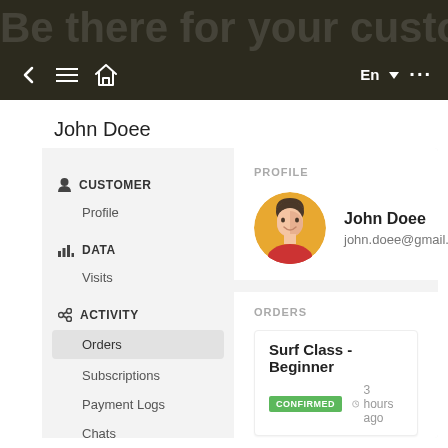[Figure (screenshot): Mobile app top navigation bar with back arrow, hamburger menu, home icon, language selector (En), and more options button. Background shows faint text 'Be there for your customer like never before'.]
John Doee
[Figure (screenshot): Customer profile panel with sidebar navigation showing CUSTOMER (Profile), DATA (Visits), ACTIVITY (Orders selected, Subscriptions, Payment Logs, Chats, MARKETING). Content area shows PROFILE section with avatar and name John Doee / john.doee@gmail.com, and ORDERS section with Surf Class - Beginner order, CONFIRMED badge, 3 hours ago.]